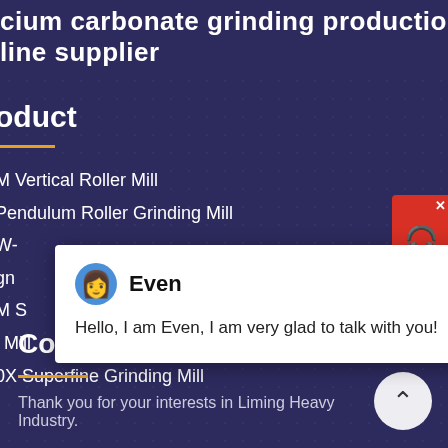cium carbonate grinding production line supplier
oduct
M Vertical Roller Mill
Pendulum Roller Grinding Mill
W-
gn
M S
l Mill
0X Superfine Grinding Mill
[Figure (screenshot): Chat popup with avatar of agent named 'Even' and message: Hello, I am Even, I am very glad to talk with you!]
[Figure (illustration): Red customer support widget on right side with close X button and headset icon]
[Figure (illustration): Cyan notification circle with number 1]
[Figure (illustration): White circle with up arrow (back to top button)]
Contact
Thank you for your interests in Liming Heavy Industry.